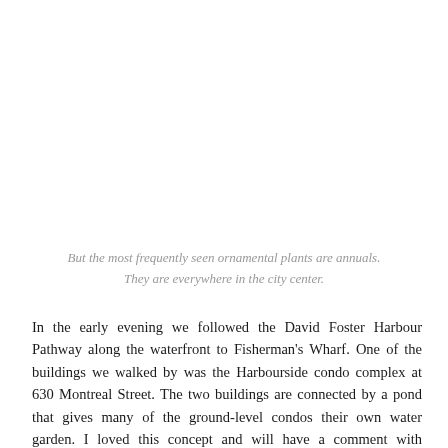But the most frequently seen ornamental plants are annuals. They are everywhere in the city center.
In the early evening we followed the David Foster Harbour Pathway along the waterfront to Fisherman's Wharf. One of the buildings we walked by was the Harbourside condo complex at 630 Montreal Street. The two buildings are connected by a pond that gives many of the ground-level condos their own water garden. I loved this concept and will have a comment with additional details...